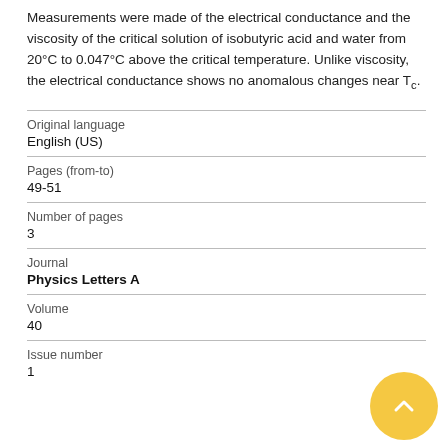Measurements were made of the electrical conductance and the viscosity of the critical solution of isobutyric acid and water from 20°C to 0.047°C above the critical temperature. Unlike viscosity, the electrical conductance shows no anomalous changes near Tc.
| Original language | English (US) |
| Pages (from-to) | 49-51 |
| Number of pages | 3 |
| Journal | Physics Letters A |
| Volume | 40 |
| Issue number | 1 |